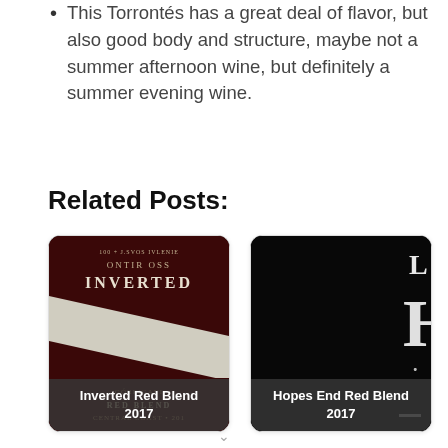This Torrontés has a great deal of flavor, but also good body and structure, maybe not a summer afternoon wine, but definitely a summer evening wine.
Related Posts:
[Figure (photo): Wine bottle label for Inverted Red Blend 2017, dark red and white label with geometric design]
Inverted Red Blend 2017
[Figure (photo): Wine bottle label for Hopes End Red Blend 2017, dark/black label with white text]
Hopes End Red Blend 2017